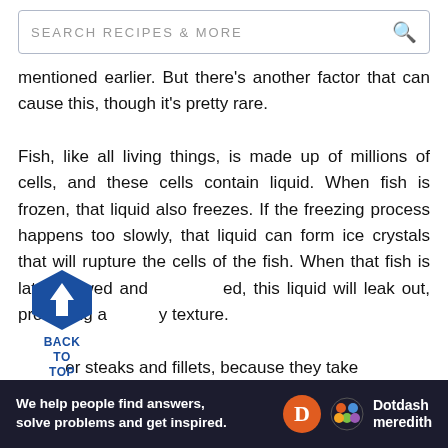SEARCH RECIPES & MORE
mentioned earlier. But there's another factor that can cause this, though it's pretty rare.

Fish, like all living things, is made up of millions of cells, and these cells contain liquid. When fish is frozen, that liquid also freezes. If the freezing process happens too slowly, that liquid can form ice crystals that will rupture the cells of the fish. When that fish is later thawed and cooked, this liquid will leak out, producing a mushy texture.

...er steaks and fillets, because they take
[Figure (infographic): Back to Top button: dark blue hexagon with upward arrow, labeled BACK TO TOP]
[Figure (infographic): Advertisement banner: dark navy background with text 'We help people find answers, solve problems and get inspired.' with Dotdash Meredith logo]
Ad